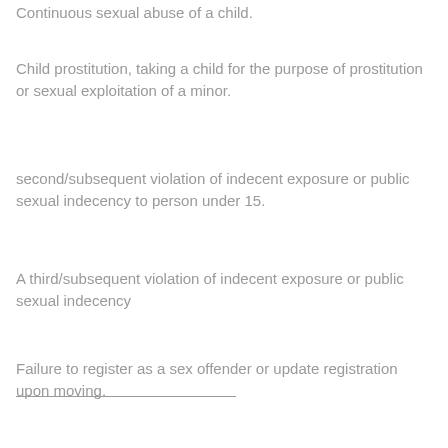Continuous sexual abuse of a child.
Child prostitution, taking a child for the purpose of prostitution or sexual exploitation of a minor.
second/subsequent violation of indecent exposure or public sexual indecency to person under 15.
A third/subsequent violation of indecent exposure or public sexual indecency
Failure to register as a sex offender or update registration upon moving.